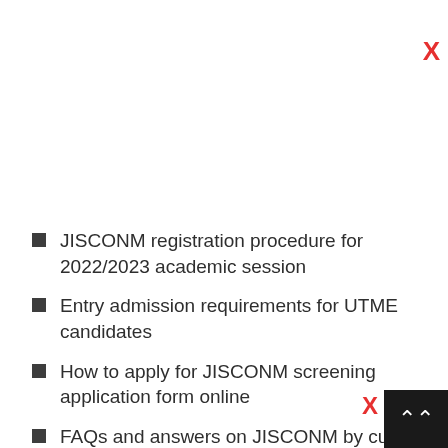JISCONM registration procedure for 2022/2023 academic session
Entry admission requirements for UTME candidates
How to apply for JISCONM screening application form online
FAQs and answers on JISCONM by current and past candidates
JISCONM form closing date